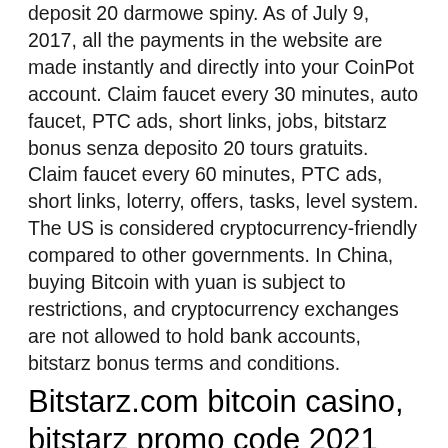deposit 20 darmowe spiny. As of July 9, 2017, all the payments in the website are made instantly and directly into your CoinPot account. Claim faucet every 30 minutes, auto faucet, PTC ads, short links, jobs, bitstarz bonus senza deposito 20 tours gratuits. Claim faucet every 60 minutes, PTC ads, short links, loterry, offers, tasks, level system. The US is considered cryptocurrency-friendly compared to other governments. In China, buying Bitcoin with yuan is subject to restrictions, and cryptocurrency exchanges are not allowed to hold bank accounts, bitstarz bonus terms and conditions.
Bitstarz.com bitcoin casino, bitstarz promo code 2021
Bitcoin faucets are great platforms to earn